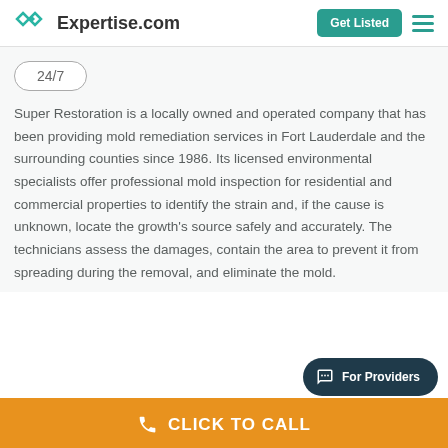Expertise.com | Get Listed
24/7
Super Restoration is a locally owned and operated company that has been providing mold remediation services in Fort Lauderdale and the surrounding counties since 1986. Its licensed environmental specialists offer professional mold inspection for residential and commercial properties to identify the strain and, if the cause is unknown, locate the growth's source safely and accurately. The technicians assess the damages, contain the area to prevent it from spreading during the removal, and eliminate the mold.
For Providers
CLICK TO CALL